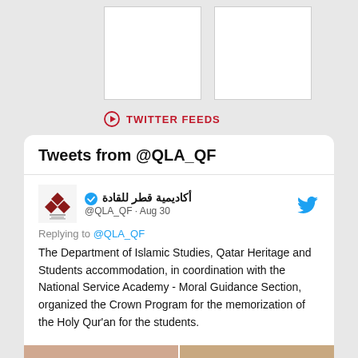[Figure (other): Two white empty boxes with borders at top of page]
TWITTER FEEDS
[Figure (screenshot): Twitter feed card showing tweets from @QLA_QF account with a tweet from Aug 30 about the Department of Islamic Studies Crown Program for memorization of the Holy Qur'an]